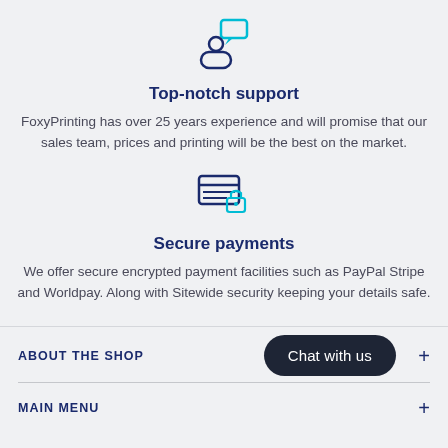[Figure (illustration): Icon of a person with a speech/chat bubble above them, in dark blue and teal/cyan colors]
Top-notch support
FoxyPrinting has over 25 years experience and will promise that our sales team, prices and printing will be the best on the market.
[Figure (illustration): Icon of a credit card with horizontal lines and a padlock, in dark blue and teal/cyan colors]
Secure payments
We offer secure encrypted payment facilities such as PayPal Stripe and Worldpay. Along with Sitewide security keeping your details safe.
ABOUT THE SHOP
Chat with us
MAIN MENU